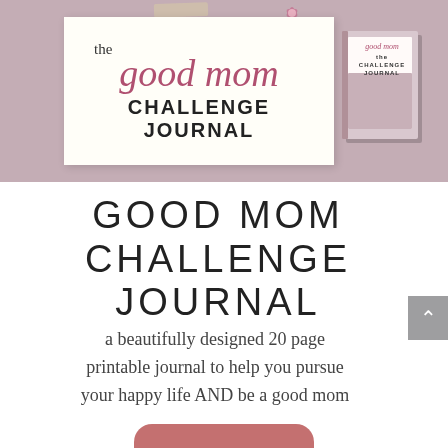[Figure (illustration): Banner image for the Good Mom Challenge Journal showing a white card with the journal title in stylized typography (the word 'good mom' in pink cursive, 'CHALLENGE JOURNAL' in bold sans-serif) with a tape strip on top, a small floral decoration, and a book mockup on the right side, all on a mauve/dusty rose background.]
GOOD MOM CHALLENGE JOURNAL
a beautifully designed 20 page printable journal to help you pursue your happy life AND be a good mom